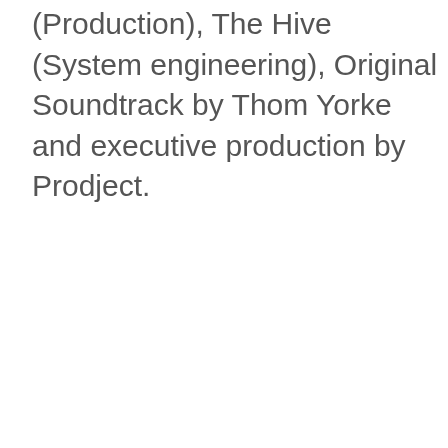(Production), The Hive (System engineering), Original Soundtrack by Thom Yorke and executive production by Prodject.